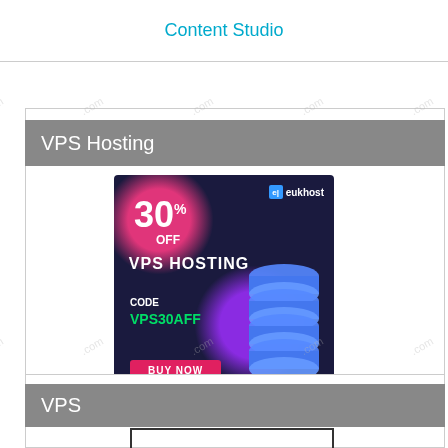Content Studio
VPS Hosting
[Figure (illustration): EukHost advertisement banner showing 30% OFF VPS Hosting with code VPS30AFF and a Buy Now button, featuring a dark navy background with pink and purple blobs and a server stack graphic]
Highly recommeded 5* WordPress blog Hosting and VPS Hosting for Service and support with FREE SSL on all domains
VPS